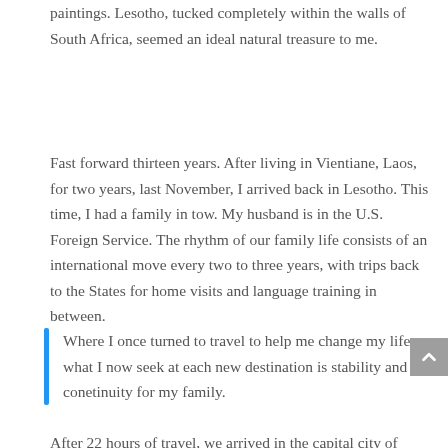paintings. Lesotho, tucked completely within the walls of South Africa, seemed an ideal natural treasure to me.
Fast forward thirteen years. After living in Vientiane, Laos, for two years, last November, I arrived back in Lesotho. This time, I had a family in tow. My husband is in the U.S. Foreign Service. The rhythm of our family life consists of an international move every two to three years, with trips back to the States for home visits and language training in between.
Where I once turned to travel to help me change my life, what I now seek at each new destination is stability and conetinuity for my family.
After 22 hours of travel, we arrived in the capital city of Maseru, which is situated in the hilly western lowlands. The air is again cool and crisp, although now it is